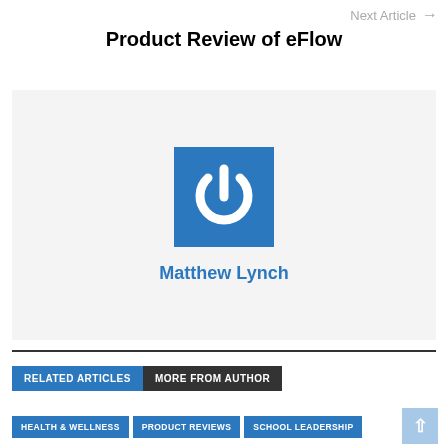Next Article →
Product Review of eFlow
[Figure (logo): Blue square logo with white power button icon, representing eFlow product, with author name 'Matthew Lynch' in blue text below]
RELATED ARTICLES  MORE FROM AUTHOR
HEALTH & WELLNESS
PRODUCT REVIEWS
SCHOOL LEADERSHIP